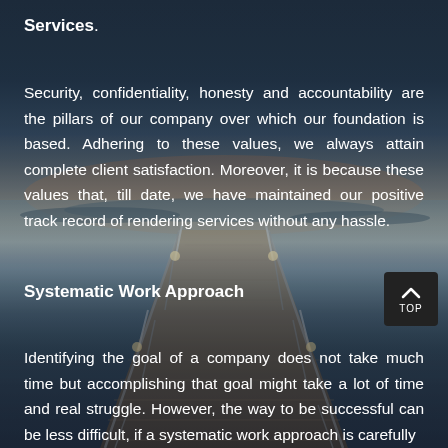Services.
Security, confidentiality, honesty and accountability are the pillars of our company over which our foundation is based. Adhering to these values, we always attain complete client satisfaction. Moreover, it is because these values that, till date, we have maintained our positive track record of rendering services without any hassle.
[Figure (photo): Background photo of a wooden pier/dock extending over water at dusk, with lamp posts along the sides, water visible in the background under a twilight sky.]
Systematic Work Approach
Identifying the goal of a company does not take much time but accomplishing that goal might take a lot of time and real struggle. However, the way to be successful can be less difficult, if a systematic work approach is carefully